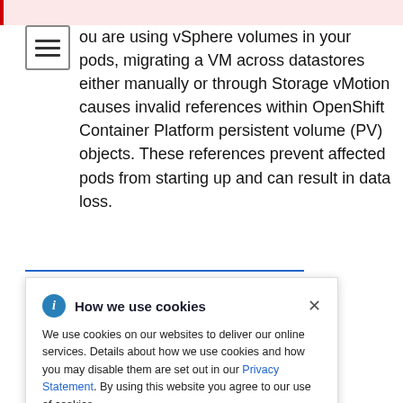ou are using vSphere volumes in your pods, migrating a VM across datastores either manually or through Storage vMotion causes invalid references within OpenShift Container Platform persistent volume (PV) objects. These references prevent affected pods from starting up and can result in data loss.
[Figure (screenshot): Cookie consent popup overlay: 'How we use cookies' dialog with info icon and close button, containing text about cookie usage and a link to Privacy Statement.]
oes not oss M sioning of datastore of PVs.
Cluster resources